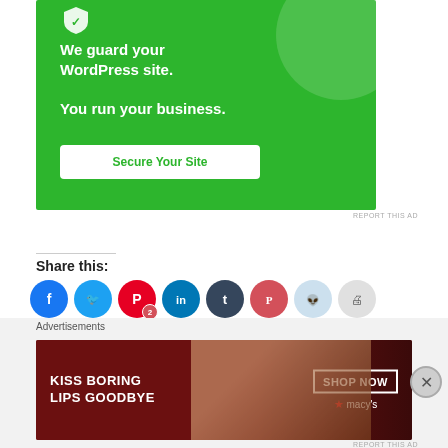[Figure (screenshot): Green advertisement banner: 'We guard your WordPress site. You run your business. Secure Your Site' button]
REPORT THIS AD
Share this:
[Figure (infographic): Row of social media icon buttons: Facebook, Twitter, Pinterest (with badge 2), LinkedIn, Tumblr, Pocket, Reddit, Print, Email, Telegram, WhatsApp, Skype]
Advertisements
[Figure (screenshot): Macy's advertisement banner: 'KISS BORING LIPS GOODBYE' with SHOP NOW button and Macy's star logo]